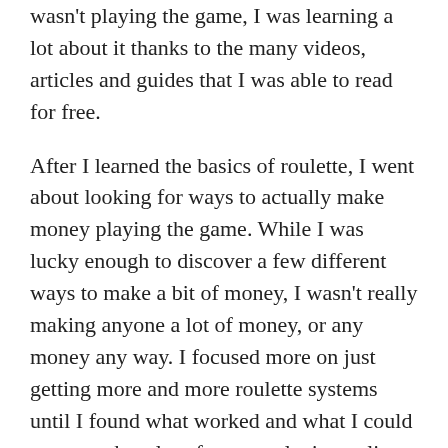wasn't playing the game, I was learning a lot about it thanks to the many videos, articles and guides that I was able to read for free.
After I learned the basics of roulette, I went about looking for ways to actually make money playing the game. While I was lucky enough to discover a few different ways to make a bit of money, I wasn't really making anyone a lot of money, or any money any way. I focused more on just getting more and more roulette systems until I found what worked and what I could use to make a lot of money playing online roulette.
And you know what, I have been making money playing online roulette for almost a year now. Sometimes it can take a while to find the right strategy that will work, especially if you are working with a lot of different